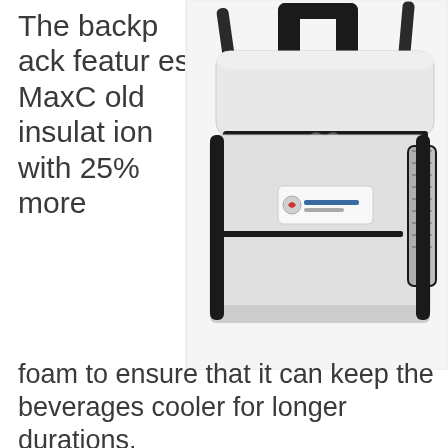The backpack features MaxCold insulation with 25% more foam to ensure that it can keep the beverages cooler for longer durations.
[Figure (photo): White and black Igloo Marine brand soft-sided cooler bag with top handles and mesh side pocket, viewed from an angle]
If you are someone who loves fishing, the